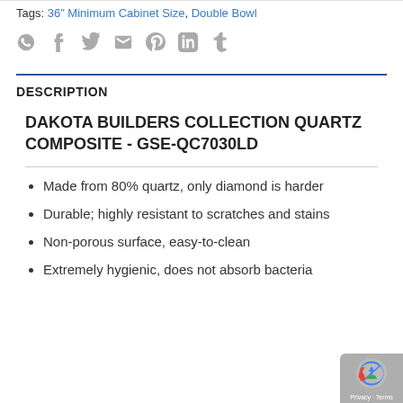Tags: 36" Minimum Cabinet Size, Double Bowl
[Figure (other): Social sharing icons: WhatsApp, Facebook, Twitter, Email, Pinterest, LinkedIn, Tumblr]
DESCRIPTION
DAKOTA BUILDERS COLLECTION QUARTZ COMPOSITE - GSE-QC7030LD
Made from 80% quartz, only diamond is harder
Durable; highly resistant to scratches and stains
Non-porous surface, easy-to-clean
Extremely hygienic, does not absorb bacteria